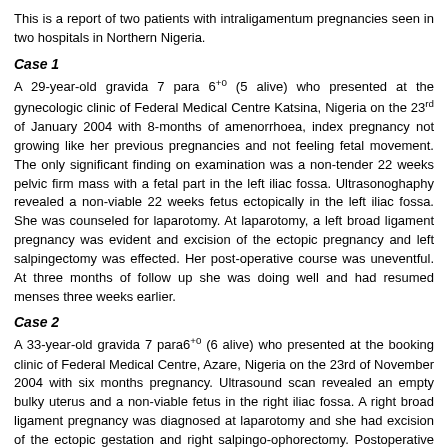This is a report of two patients with intraligamentum pregnancies seen in two hospitals in Northern Nigeria.
Case 1
A 29-year-old gravida 7 para 6+0 (5 alive) who presented at the gynecologic clinic of Federal Medical Centre Katsina, Nigeria on the 23rd of January 2004 with 8-months of amenorrhoea, index pregnancy not growing like her previous pregnancies and not feeling fetal movement. The only significant finding on examination was a non-tender 22 weeks pelvic firm mass with a fetal part in the left iliac fossa. Ultrasonoghaphy revealed a non-viable 22 weeks fetus ectopically in the left iliac fossa. She was counseled for laparotomy. At laparotomy, a left broad ligament pregnancy was evident and excision of the ectopic pregnancy and left salpingectomy was effected. Her post-operative course was uneventful. At three months of follow up she was doing well and had resumed menses three weeks earlier.
Case 2
A 33-year-old gravida 7 para6+0 (6 alive) who presented at the booking clinic of Federal Medical Centre, Azare, Nigeria on the 23rd of November 2004 with six months pregnancy. Ultrasound scan revealed an empty bulky uterus and a non-viable fetus in the right iliac fossa. A right broad ligament pregnancy was diagnosed at laparotomy and she had excision of the ectopic gestation and right salpingo-ophorectomy. Postoperative events were satisfactory and she was discharged on the 7th postoperative day. At six months of follow up she was doing well and had regular menses.